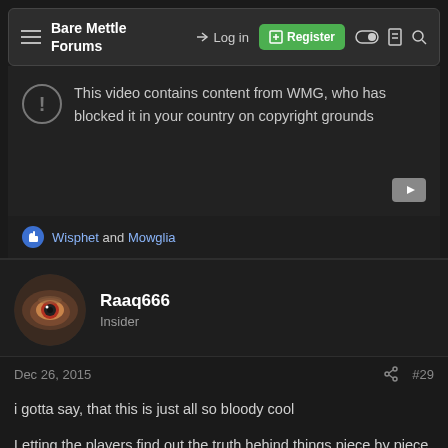Bare Mettle Forums — Log in | Register
[Figure (screenshot): Embedded YouTube video player showing a blocked video message: 'This video contains content from WMG, who has blocked it in your country on copyright grounds']
Wisphet and Mowglia
Raaq666
Insider
Dec 26, 2015  #29
i gotta say, that this is just all so bloody cool
Letting the players find out the truth behind things piece by piece